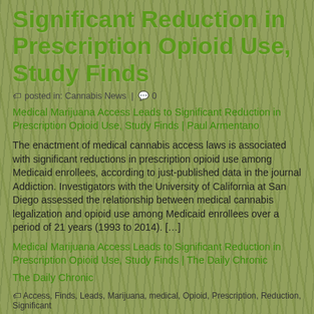Significant Reduction in Prescription Opioid Use, Study Finds
posted in: Cannabis News | 0
Medical Marijuana Access Leads to Significant Reduction in Prescription Opioid Use, Study Finds | Paul Armentano
The enactment of medical cannabis access laws is associated with significant reductions in prescription opioid use among Medicaid enrollees, according to just-published data in the journal Addiction. Investigators with the University of California at San Diego assessed the relationship between medical cannabis legalization and opioid use among Medicaid enrollees over a period of 21 years (1993 to 2014). […]
Medical Marijuana Access Leads to Significant Reduction in Prescription Opioid Use, Study Finds | The Daily Chronic
The Daily Chronic
Access, Finds, Leads, Marijuana, medical, Opioid, Prescription, Reduction, Significant